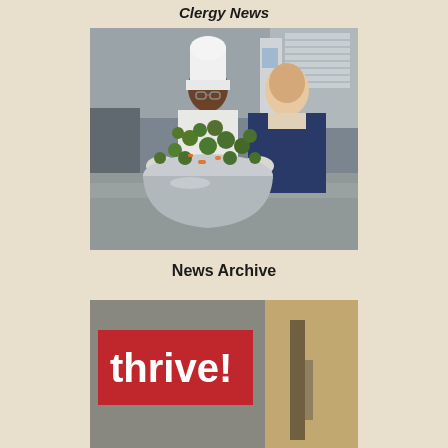Clergy News
[Figure (photo): A chef wearing a white chef's hat and uniform holding a large silver mixing bowl filled with Brussels sprouts and carrots, with a man in a dark blue sweater standing behind in a commercial kitchen.]
News Archive
[Figure (photo): Bottom portion of a news archive image showing a red banner with white bold text reading 'thrive!' and a partial photograph to the right.]